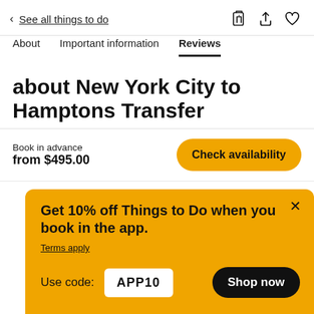< See all things to do
About   Important information   Reviews
about New York City to Hamptons Transfer
Book in advance
from $495.00
Check availability
Get 10% off Things to Do when you book in the app.
Terms apply
Use code: APP10
Shop now